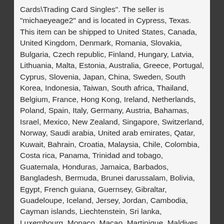Cards\Trading Card Singles". The seller is "michaeyeage2" and is located in Cypress, Texas. This item can be shipped to United States, Canada, United Kingdom, Denmark, Romania, Slovakia, Bulgaria, Czech republic, Finland, Hungary, Latvia, Lithuania, Malta, Estonia, Australia, Greece, Portugal, Cyprus, Slovenia, Japan, China, Sweden, South Korea, Indonesia, Taiwan, South africa, Thailand, Belgium, France, Hong Kong, Ireland, Netherlands, Poland, Spain, Italy, Germany, Austria, Bahamas, Israel, Mexico, New Zealand, Singapore, Switzerland, Norway, Saudi arabia, United arab emirates, Qatar, Kuwait, Bahrain, Croatia, Malaysia, Chile, Colombia, Costa rica, Panama, Trinidad and tobago, Guatemala, Honduras, Jamaica, Barbados, Bangladesh, Bermuda, Brunei darussalam, Bolivia, Egypt, French guiana, Guernsey, Gibraltar, Guadeloupe, Iceland, Jersey, Jordan, Cambodia, Cayman islands, Liechtenstein, Sri lanka, Luxembourg, Monaco, Macao, Martinique, Maldives, Nicaragua, Oman, Pakistan, Paraguay, Reunion, Uruguay.
Product: Single